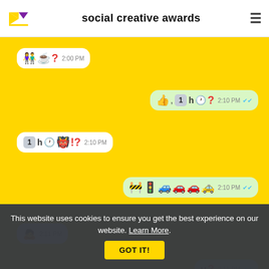social creative awards
[Figure (screenshot): WhatsApp-style chat conversation with emoji messages on a yellow background. Left bubbles (white): people+coffee+question at 2:00 PM; 1h clock+ogre+!? at 2:10 PM; woman bowing at 2:11 PM; 20 min clock at 2:11 PM. Right bubbles (light green): thumbs up+1h clock+question at 2:10 PM with double blue ticks; construction+traffic light+cars at 2:10 PM with double ticks; u? at 2:11 PM with double blue ticks; fire+!? partially visible at bottom.]
This website uses cookies to ensure you get the best experience on our website. Learn More.
GOT IT!